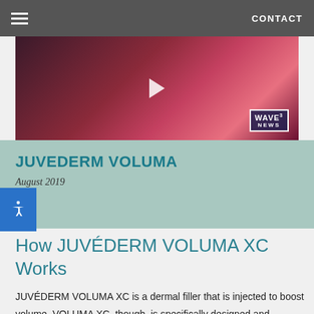CONTACT
[Figure (screenshot): Video thumbnail showing a woman in a red/pink outfit with WAVE3 NEWS logo overlay in bottom right corner, with a play button centered on the image.]
JUVEDERM VOLUMA
August 2019
How JUVÉDERM VOLUMA XC Works
JUVÉDERM VOLUMA XC is a dermal filler that is injected to boost volume. VOLUMA XC, though, is specifically designed and formulated for the cheeks. It has large molecules of a natural volumizer called